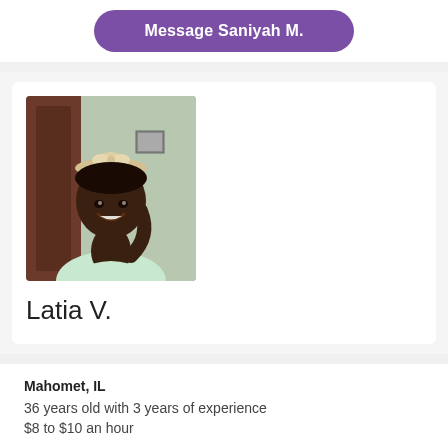[Figure (other): Purple rounded button with white bold text 'Message Saniyah M.']
[Figure (photo): Profile photo of a young woman smiling, wearing a beige bow headband and a light green shirt, photographed indoors]
Latia V.
Mahomet, IL
36 years old with 3 years of experience
$8 to $10 an hour
After school care availability